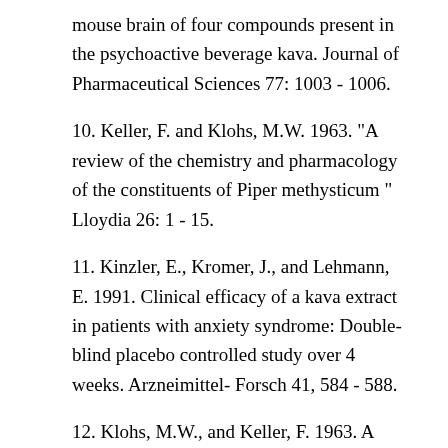mouse brain of four compounds present in the psychoactive beverage kava. Journal of Pharmaceutical Sciences 77: 1003 - 1006.
10. Keller, F. and Klohs, M.W. 1963. "A review of the chemistry and pharmacology of the constituents of Piper methysticum " Lloydia 26: 1 - 15.
11. Kinzler, E., Kromer, J., and Lehmann, E. 1991. Clinical efficacy of a kava extract in patients with anxiety syndrome: Double-blind placebo controlled study over 4 weeks. Arzneimittel- Forsch 41, 584 - 588.
12. Klohs, M.W., and Keller, F. 1963. A review of the chemistry and pharmacology of the constituents of Piper methysticum Forst. Journal of Medicine, Pharmacology Chemistry 1(1): 95 - 103.